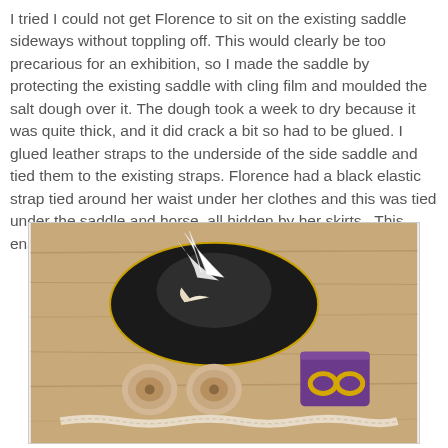I tried I could not get Florence to sit on the existing saddle sideways without toppling off. This would clearly be too precarious for an exhibition, so I made the saddle by protecting the existing saddle with cling film and moulded the salt dough over it. The dough took a week to dry because it was quite thick, and it did crack a bit so had to be glued. I glued leather straps to the underside of the side saddle and tied them to the existing straps. Florence had a black elastic strap tied around her waist under her clothes and this was tied under the saddle and horse, all hidden by her skirts. This ensured that she didn't fall off the horse.
[Figure (photo): A photo on a wooden surface showing a small black miniature hat with white feathers, two small round ornamental pieces, a small purple box with two gold rings, and a thin decorative lace trim strip.]